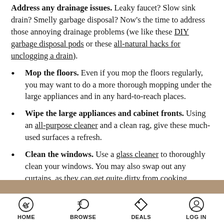Address any drainage issues. Leaky faucet? Slow sink drain? Smelly garbage disposal? Now's the time to address those annoying drainage problems (we like these DIY garbage disposal pods or these all-natural hacks for unclogging a drain).
Mop the floors. Even if you mop the floors regularly, you may want to do a more thorough mopping under the large appliances and in any hard-to-reach places.
Wipe the large appliances and cabinet fronts. Using an all-purpose cleaner and a clean rag, give these much-used surfaces a refresh.
Clean the windows. Use a glass cleaner to thoroughly clean your windows. You may also swap out any curtains, as they can get quite dirty from cooking.
[Figure (photo): Partial image strip visible at bottom of content area]
HOME   BROWSE   DEALS   LOG IN